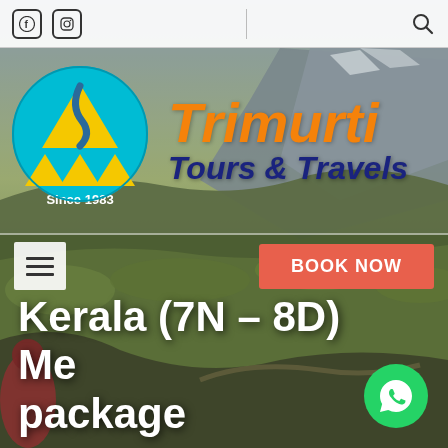[Figure (screenshot): Website screenshot showing Trimurti Tours & Travels header with logo, navigation bar with BOOK NOW button, and Kerala tour package title over a mountain landscape background.]
Trimurti Tours & Travels — Since 1983
Kerala (7N – 8D) Mega package